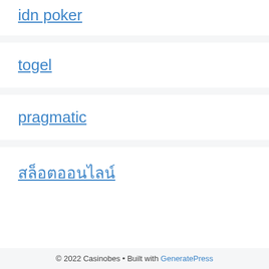idn poker
togel
pragmatic
สล็อตออนไลน์
© 2022 Casinobes • Built with GeneratePress